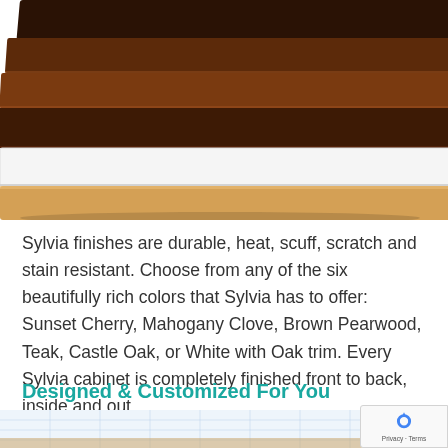[Figure (photo): Stacked wood finish panels in various colors: dark browns, white, and light oak, shown from above at an angle]
Sylvia finishes are durable, heat, scuff, scratch and stain resistant. Choose from any of the six beautifully rich colors that Sylvia has to offer: Sunset Cherry, Mahogany Clove, Brown Pearwood, Teak, Castle Oak, or White with Oak trim. Every Sylvia cabinet is completely finished front to back, inside and out.
Designed & Customized For You
[Figure (photo): Partial view of a sewing machine on a table with grid/graph paper background, bottom of page]
[Figure (other): reCAPTCHA privacy badge with blue circular arrow logo, Privacy and Terms text]